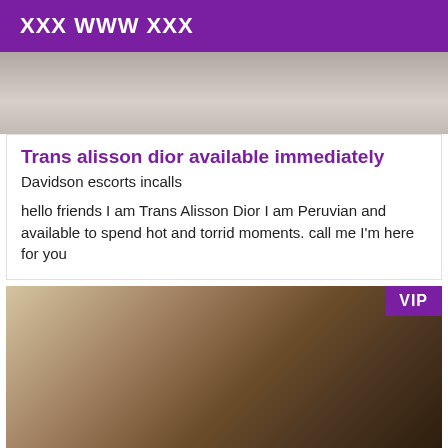XXX WWW XXX
[Figure (photo): Top partial photo, light tones, appears to be a person or background, cropped]
Trans alisson dior available immediately
Davidson escorts incalls
hello friends I am Trans Alisson Dior I am Peruvian and available to spend hot and torrid moments. call me I'm here for you
[Figure (photo): Photo of a person with brown hair wearing a black outfit, in an indoor setting, with a VIP badge in the upper right corner]